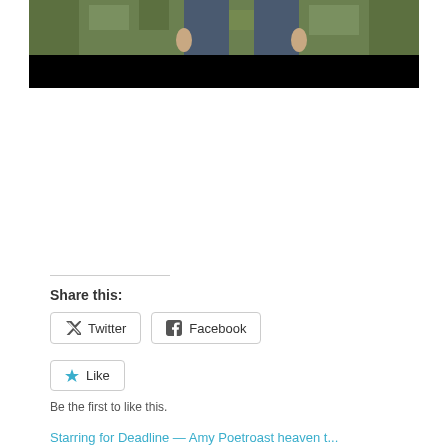[Figure (photo): Partial photo of a person standing outdoors in front of green hedges/bushes; the lower portion of the photo is cropped to a black bar. Only the torso and hands area of the person is visible wearing dark blue/grey pants. The image is cropped at the top.]
Share this:
Twitter
Facebook
Like
Be the first to like this.
Starring for Deadline — Amy Poetroast heaven t...